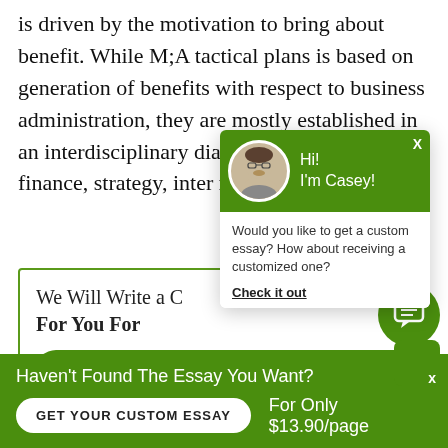is driven by the motivation to bring about benefit. While M;A tactical plans is based on generation of benefits with respect to business administration, they are mostly established in an interdisciplinary dialogue that involves finance, strategy, inter marketing, human res
[Figure (screenshot): Chat popup with green header showing avatar of a man with glasses and text 'Hi! I'm Casey!', body with text 'Would you like to get a custom essay? How about receiving a customized one?' and 'Check it out' link]
We Will Write a C For You For
ORDER NOW
Haven't Found The Essay You Want?
GET YOUR CUSTOM ESSAY
For Only $13.90/page